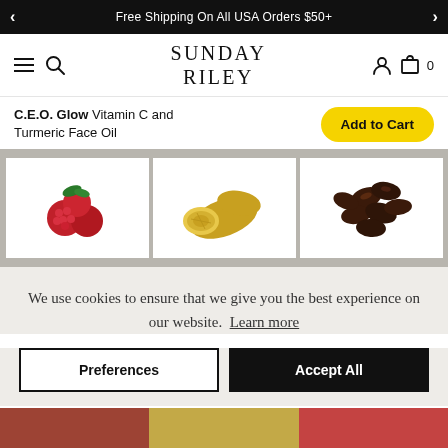Free Shipping On All USA Orders $50+
[Figure (logo): Sunday Riley brand logo with hamburger menu, search icon, user icon, and cart icon showing 0 items]
C.E.O. Glow Vitamin C and Turmeric Face Oil
[Figure (photo): Three ingredient photos on grey background: raspberries, sliced ginger root, and dark cocoa/coffee beans]
We use cookies to ensure that we give you the best experience on our website. Learn more
Preferences
Accept All
[Figure (photo): Partial view of colorful ingredient photos at bottom of page]